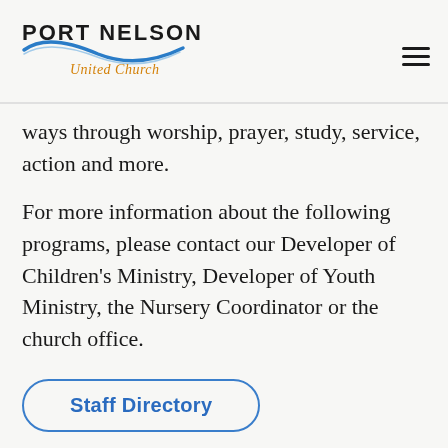[Figure (logo): Port Nelson United Church logo with blue swirl and orange script text]
ways through worship, prayer, study, service, action and more.
For more information about the following programs, please contact our Developer of Children’s Ministry, Developer of Youth Ministry, the Nursery Coordinator or the church office.
Staff Directory